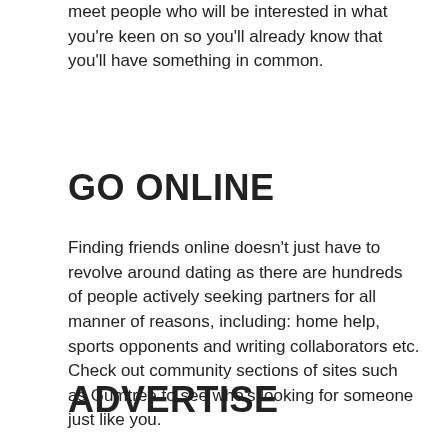meet people who will be interested in what you're keen on so you'll already know that you'll have something in common.
GO ONLINE
Finding friends online doesn't just have to revolve around dating as there are hundreds of people actively seeking partners for all manner of reasons, including: home help, sports opponents and writing collaborators etc. Check out community sections of sites such as Gumtree to see who's looking for someone just like you.
ADVERTISE
When at the conversation ends, advertise online to see if the...